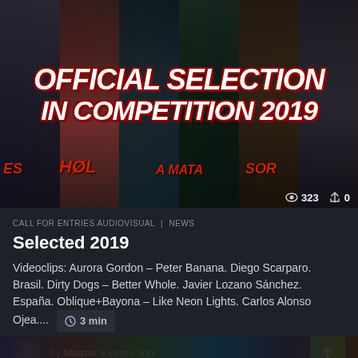[Figure (screenshot): Hero banner image showing movie posters in the background with the text OFFICIAL SELECTION IN COMPETITION 2019 overlaid in bold white italic text with red shadow. Stats show 323 views and 0 shares in bottom right corner.]
CALL FOR ENTRIES AUDIOVISUAL  NEWS
Selected 2019
Videoclips: Aurora Gordon – Peter Banana. Diego Scarparo. Brasil. Dirty Dogs – Better Whole. Javier Lozano Sánchez. España. Oblique+Bayona – Like Neon Lights. Carlos Alonso Ojea....   3 min
by Master 3 years ago